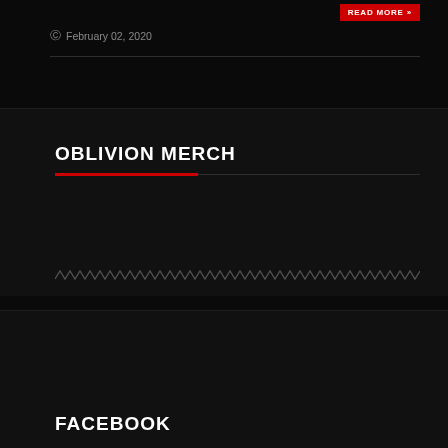[Figure (other): Red READ MORE button in top right]
February 02, 2020
OBLIVION MERCH
[Figure (other): Zigzag decorative border pattern at bottom of merch section]
FACEBOOK